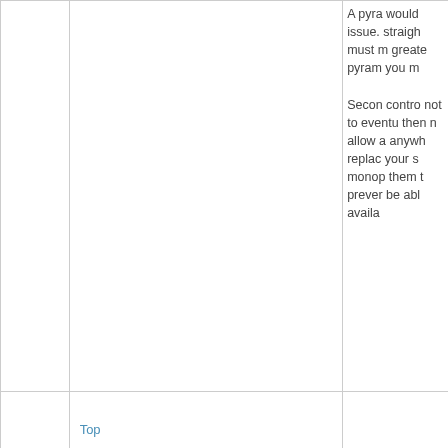A pyra would issue. straigh must m greate pyram you m
Secon contro not to eventu then n allow a anywh replac your s mono them t prever be abl availa
Top